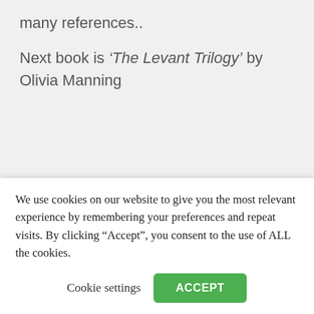many references..
Next book is ‘The Levant Trilogy’ by Olivia Manning
BOOK CLUB  CLUBS & SOCIETIES  VILLAGE
We use cookies on our website to give you the most relevant experience by remembering your preferences and repeat visits. By clicking “Accept”, you consent to the use of ALL the cookies.
Cookie settings
ACCEPT